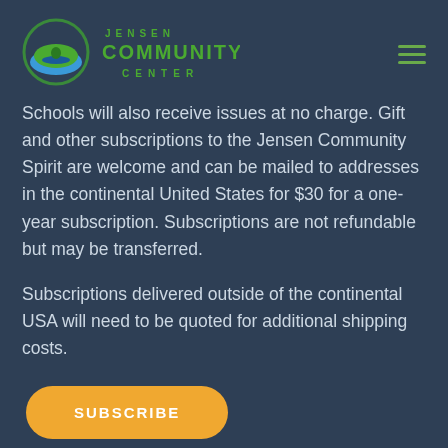Jensen Community Center
Schools will also receive issues at no charge. Gift and other subscriptions to the Jensen Community Spirit are welcome and can be mailed to addresses in the continental United States for $30 for a one-year subscription. Subscriptions are not refundable but may be transferred.
Subscriptions delivered outside of the continental USA will need to be quoted for additional shipping costs.
SUBSCRIBE